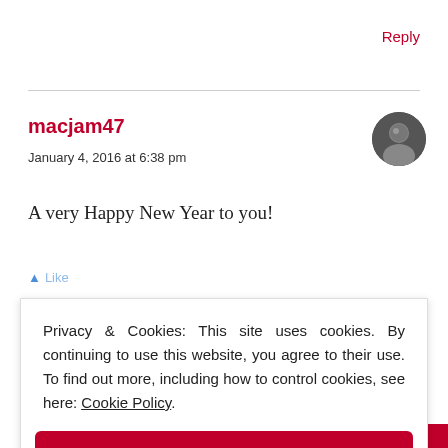Reply
macjam47
January 4, 2016 at 6:38 pm
A very Happy New Year to you!
Privacy & Cookies: This site uses cookies. By continuing to use this website, you agree to their use. To find out more, including how to control cookies, see here: Cookie Policy
Close and accept